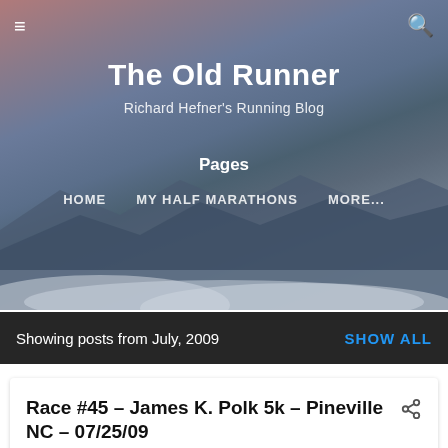[Figure (photo): Blog header with mountain landscape at dusk, purple-pink sky, dark silhouetted mountain ridges, and misty white sand dunes in foreground]
≡   The Old Runner   🔍
The Old Runner
Richard Hefner's Running Blog
Pages
HOME
MY HALF MARATHONS
MORE...
Showing posts from July, 2009
SHOW ALL
Race #45 – James K. Polk 5k – Pineville NC – 07/25/09
July 25, 2009